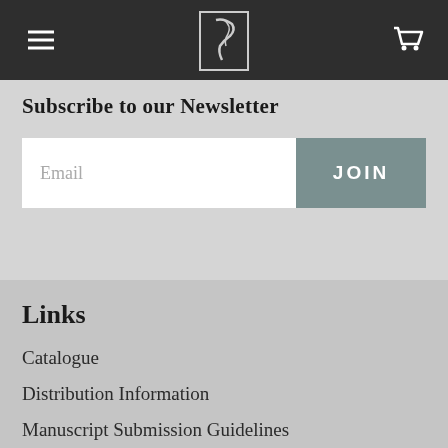[Figure (logo): Dark navigation bar with hamburger menu on left, stylized figure logo in center, shopping cart icon on right]
Subscribe to our Newsletter
Email
JOIN
Links
Catalogue
Distribution Information
Manuscript Submission Guidelines
Purchase Giftcard
Check Gift Balance